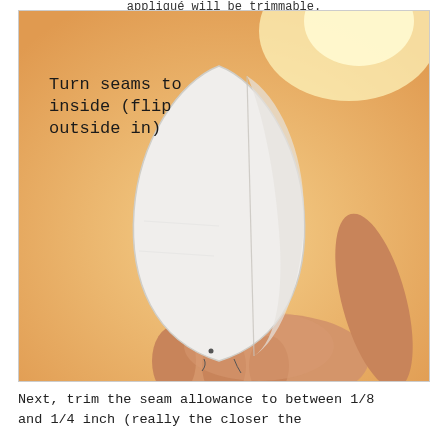appliqué will be trimmable.
[Figure (photo): A hand holding a white fabric piece shaped like an elongated leaf or egg, with seams turned to the inside. Text overlay reads: Turn seams to inside (flip outside in). Warm orange/yellow glowing background.]
Next, trim the seam allowance to between 1/8 and 1/4 inch (really the closer the